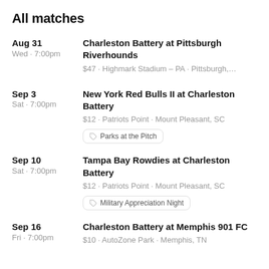All matches
Aug 31 Wed · 7:00pm — Charleston Battery at Pittsburgh Riverhounds — $47 · Highmark Stadium – PA · Pittsburgh,...
Sep 3 Sat · 7:00pm — New York Red Bulls II at Charleston Battery — $12 · Patriots Point · Mount Pleasant, SC — Parks at the Pitch
Sep 10 Sat · 7:00pm — Tampa Bay Rowdies at Charleston Battery — $12 · Patriots Point · Mount Pleasant, SC — Military Appreciation Night
Sep 16 Fri · 7:00pm — Charleston Battery at Memphis 901 FC — $10 · AutoZone Park · Memphis, TN